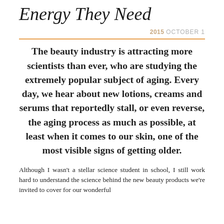Energy They Need
2015 OCTOBER 1
The beauty industry is attracting more scientists than ever, who are studying the extremely popular subject of aging. Every day, we hear about new lotions, creams and serums that reportedly stall, or even reverse, the aging process as much as possible, at least when it comes to our skin, one of the most visible signs of getting older.
Although I wasn't a stellar science student in school, I still work hard to understand the science behind the new beauty products we're invited to cover for our wonderful